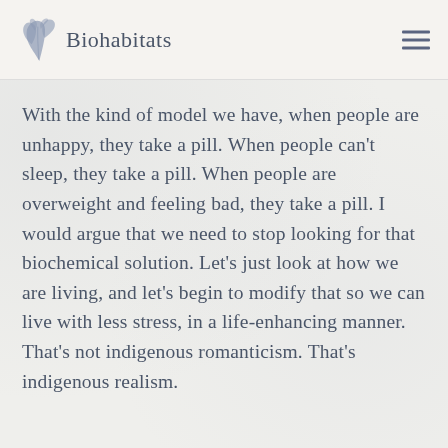[Figure (logo): Biohabitats logo with leaf/plant illustration and text 'Biohabitats']
With the kind of model we have, when people are unhappy, they take a pill. When people can't sleep, they take a pill. When people are overweight and feeling bad, they take a pill. I would argue that we need to stop looking for that biochemical solution. Let's just look at how we are living, and let's begin to modify that so we can live with less stress, in a life-enhancing manner. That's not indigenous romanticism. That's indigenous realism.